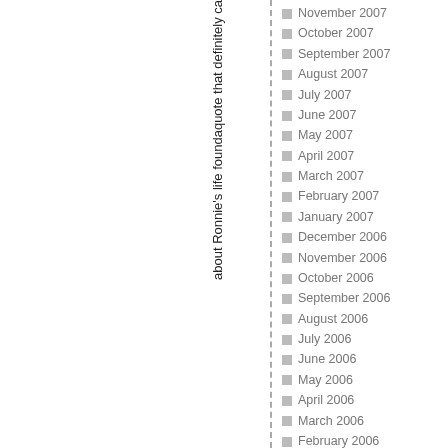about Ronnie's life foundaquote that definitely ca
November 2007
October 2007
September 2007
August 2007
July 2007
June 2007
May 2007
April 2007
March 2007
February 2007
January 2007
December 2006
November 2006
October 2006
September 2006
August 2006
July 2006
June 2006
May 2006
April 2006
March 2006
February 2006
January 2006
December 2005
November 2005
October 2005